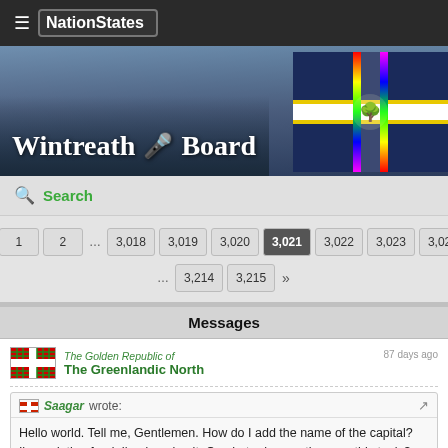NationStates
Wintreath Board
Search
« 1 2 … 3,018 3,019 3,020 3,021 3,022 3,023 3,024 … 3,214 3,215 »
Messages
The Golden Republic of The Greenlandic North — 87 days ago
Saagar wrote: Hello world. Tell me, Gentlemen. How do I add the name of the capital? I'm updating food, I'm dumping it. Or what rules are there on this topic?